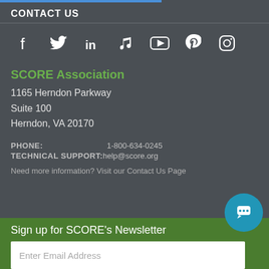CONTACT US
[Figure (infographic): Row of social media icons: Facebook, Twitter, LinkedIn, Music/iTunes, YouTube, Pinterest, Instagram]
SCORE Association
1165 Herndon Parkway
Suite 100
Herndon, VA 20170
PHONE: 1-800-634-0245
TECHNICAL SUPPORT: help@score.org
Need more information? Visit our Contact Us Page
Sign up for SCORE's Newsletter
Enter Email Address